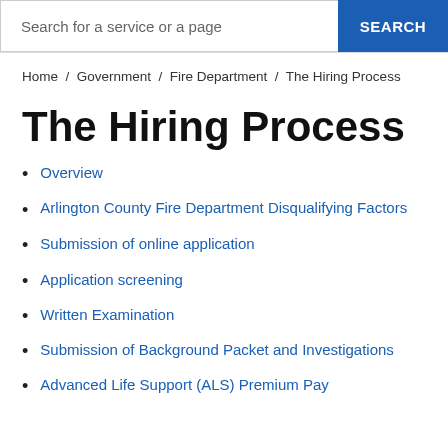Search for a service or a page  SEARCH
Home / Government / Fire Department / The Hiring Process
The Hiring Process
Overview
Arlington County Fire Department Disqualifying Factors
Submission of online application
Application screening
Written Examination
Submission of Background Packet and Investigations
Advanced Life Support (ALS) Premium Pay